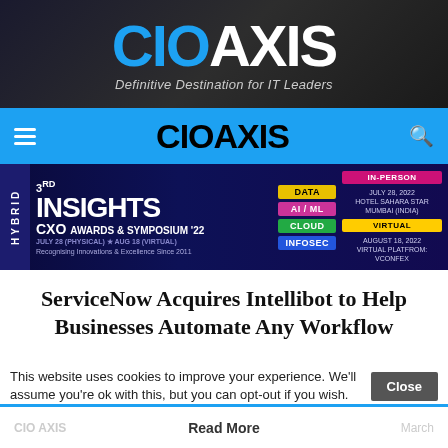[Figure (logo): CIO AXIS logo on dark gradient background with tagline 'Definitive Destination for IT Leaders']
[Figure (logo): CIO AXIS navigation bar on blue background with hamburger menu and search icon]
[Figure (infographic): 3rd Insights CXO Awards & Symposium '22 hybrid event banner with topics DATA, AI/ML, CLOUD, INFOSEC. In-Person July 28 2022, Hotel Sahara Star, Mumbai India. Virtual August 18 2022, Virtual Platform: VCONFEX]
ServiceNow Acquires Intellibot to Help Businesses Automate Any Workflow
This website uses cookies to improve your experience. We'll assume you're ok with this, but you can opt-out if you wish.
CIO AXIS   March   Read More